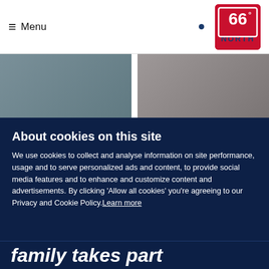≡ Menu
[Figure (logo): 66 North brand logo — red square with white '66°' text and 'NORTH' below]
[Figure (photo): Two side-by-side muted photographs, left in blue-grey tone, right in warm grey tone]
About cookies on this site
We use cookies to collect and analyse information on site performance, usage and to serve personalized ads and content, to provide social media features and to enhance and customize content and advertisements. By clicking 'Allow all cookies' you're agreeing to our Privacy and Cookie Policy.Learn more
Allow all cookies
Cookie settings
family takes part